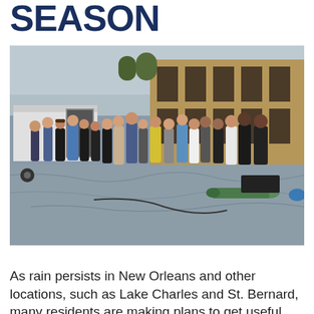SEASON
[Figure (photo): A group of people standing outdoors on a gray tarp or flood barrier material, with a trailer and building in the background. Several large green pipes or tubes are visible on the ground to the right. The scene appears to be a flood protection demonstration or equipment distribution event.]
As rain persists in New Orleans and other locations, such as Lake Charles and St. Bernard, many residents are making plans to get useful flood protection. The